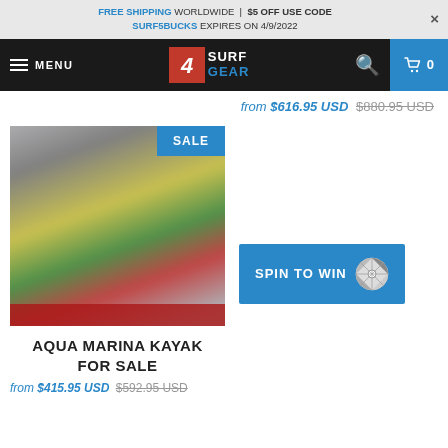FREE SHIPPING WORLDWIDE | $5 OFF USE CODE SURF5BUCKS EXPIRES ON 4/9/2022
MENU | SURF GEAR | search | cart 0
from $616.95 USD $880.95 USD
[Figure (photo): Blurry photo of a kayak with yellow and green colors, with a SALE badge in the top right corner and a red bar at the bottom]
AQUA MARINA KAYAK FOR SALE
from $415.95 USD $592.95 USD
SPIN TO WIN